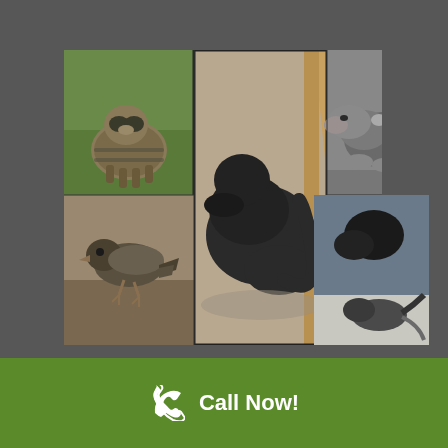[Figure (photo): Collage of six wildlife/pest control related animal photos: baby raccoon on grass, dark cat curled in crawl space, dead opossum on pavement, dead bird on ground, raccoon looking up, and a snake being handled.]
Call Now!